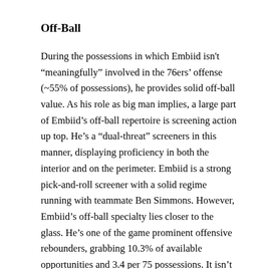Off-Ball
During the possessions in which Embiid isn't “meaningfully” involved in the 76ers’ offense (~55% of possessions), he provides solid off-ball value. As his role as big man implies, a large part of Embiid’s off-ball repertoire is screening action up top. He’s a “dual-threat” screeners in this manner, displaying proficiency in both the interior and on the perimeter. Embiid is a strong pick-and-roll screener with a solid regime running with teammate Ben Simmons. However, Embiid’s off-ball specialty lies closer to the glass. He’s one of the game prominent offensive rebounders, grabbing 10.3% of available opportunities and 3.4 per 75 possessions. It isn’t merely a product of his 7-foot, 280-lbs frame either; Embiid is extremely active on the offensive glass. It has enabled him to generate points